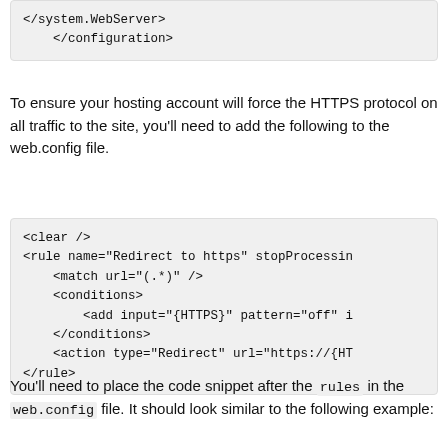[Figure (screenshot): Code block showing XML closing tags: </system.WebServer> and </configuration>]
To ensure your hosting account will force the HTTPS protocol on all traffic to the site, you'll need to add the following to the web.config file.
[Figure (screenshot): Code block showing XML rules: <clear />, <rule name="Redirect to https" stopProcessin, <match url="(.*)" />, <conditions>, <add input="{HTTPS}" pattern="off" i, </conditions>, <action type="Redirect" url="https://{HT, </rule>]
You'll need to place the code snippet after the rules in the web.config file. It should look similar to the following example: